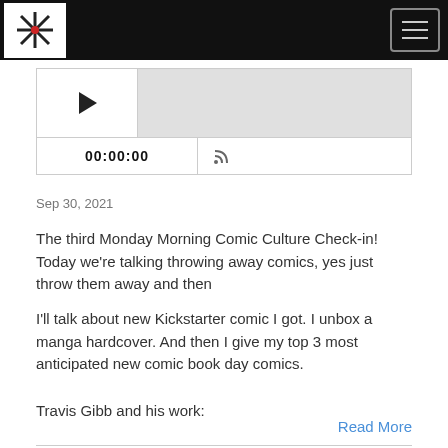[Logo and navigation header bar]
[Figure (other): Audio podcast player widget with play button, progress bar, timestamp 00:00:00, and RSS feed icon]
Sep 30, 2021
The third Monday Morning Comic Culture Check-in! Today we're talking throwing away comics, yes just throw them away and then
I'll talk about new Kickstarter comic I got. I unbox a manga hardcover. And then I give my top 3 most anticipated new comic book day comics.
Travis Gibb and his work:
Read More